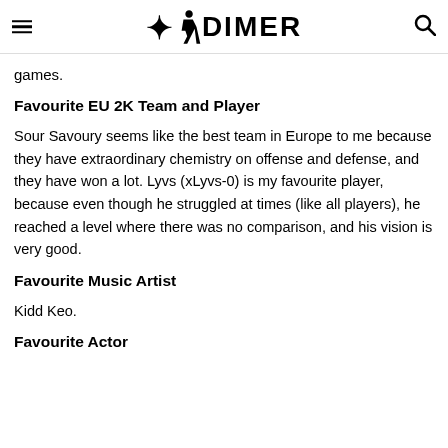DIMER
games.
Favourite EU 2K Team and Player
Sour Savoury seems like the best team in Europe to me because they have extraordinary chemistry on offense and defense, and they have won a lot. Lyvs (xLyvs-0) is my favourite player, because even though he struggled at times (like all players), he reached a level where there was no comparison, and his vision is very good.
Favourite Music Artist
Kidd Keo.
Favourite Actor